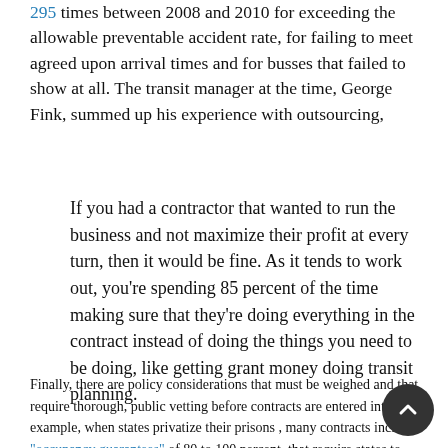295 times between 2008 and 2010 for exceeding the allowable preventable accident rate, for failing to meet agreed upon arrival times and for busses that failed to show at all. The transit manager at the time, George Fink, summed up his experience with outsourcing,
If you had a contractor that wanted to run the business and not maximize their profit at every turn, then it would be fine. As it tends to work out, you're spending 85 percent of the time making sure that they're doing everything in the contract instead of doing the things you need to be doing, like getting grant money doing transit planning.
Finally, there are policy considerations that must be weighed and that require thorough, public vetting before contracts are entered into. For example, when states privatize their prisons , many contracts include "occupancy guarantees" of 80 to 100 percent, that require states to keep the beds filled or